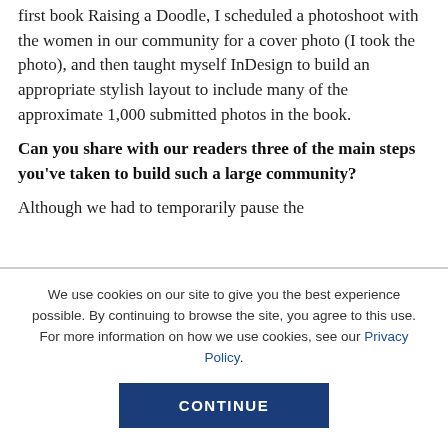first book Raising a Doodle, I scheduled a photoshoot with the women in our community for a cover photo (I took the photo), and then taught myself InDesign to build an appropriate stylish layout to include many of the approximate 1,000 submitted photos in the book.
Can you share with our readers three of the main steps you've taken to build such a large community?
Although we had to temporarily pause the
We use cookies on our site to give you the best experience possible. By continuing to browse the site, you agree to this use. For more information on how we use cookies, see our Privacy Policy.